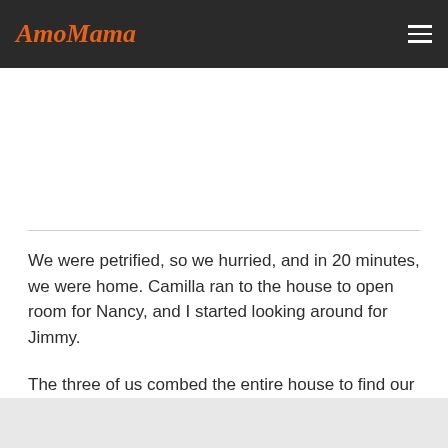AmoMama
We were petrified, so we hurried, and in 20 minutes, we were home. Camilla ran to the house to open room for Nancy, and I started looking around for Jimmy.
The three of us combed the entire house to find our son. The adrenaline was running high, we called out to him, looked in the closets, but he was nowhere to be found.